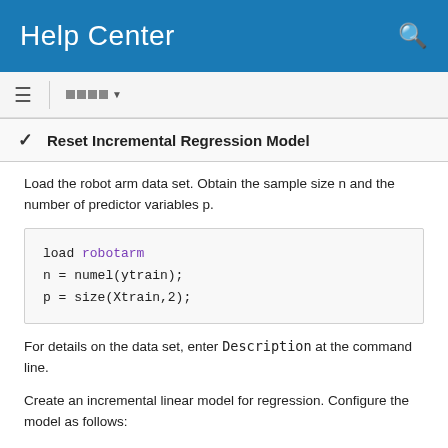Help Center
Reset Incremental Regression Model
Load the robot arm data set. Obtain the sample size n and the number of predictor variables p.
load robotarm
n = numel(ytrain);
p = size(Xtrain,2);
For details on the data set, enter Description at the command line.
Create an incremental linear model for regression. Configure the model as follows:
Specify a metrics warm-up period of 1000 observations.
Specify a metrics window size of 500 observations.
Configure the model to predict responses by specifying